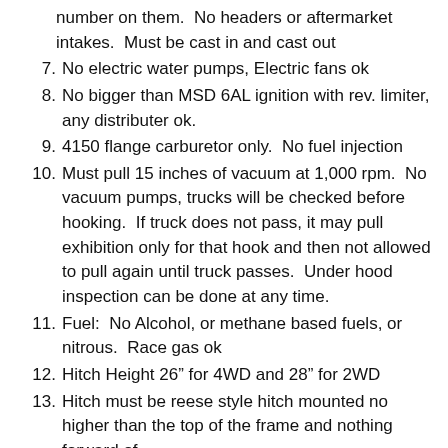(continuation) number on them.  No headers or aftermarket intakes.  Must be cast in and cast out
7. No electric water pumps, Electric fans ok
8. No bigger than MSD 6AL ignition with rev. limiter, any distributer ok.
9. 4150 flange carburetor only.  No fuel injection
10. Must pull 15 inches of vacuum at 1,000 rpm.  No vacuum pumps, trucks will be checked before hooking.  If truck does not pass, it may pull exhibition only for that hook and then not allowed to pull again until truck passes.  Under hood inspection can be done at any time.
11. Fuel:  No Alcohol, or methane based fuels, or nitrous.  Race gas ok
12. Hitch Height 26” for 4WD and 28” for 2WD
13. Hitch must be reese style hitch mounted no higher than the top of the frame and nothing forward of